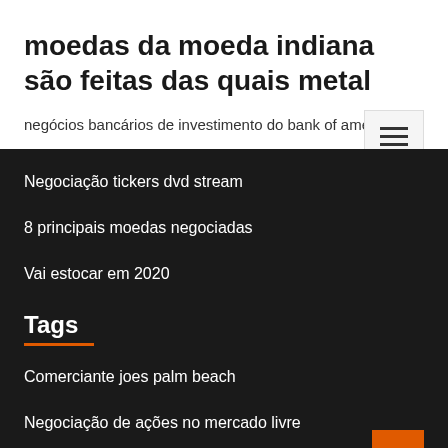moedas da moeda indiana são feitas das quais metal
negócios bancários de investimento do bank of america
Negociação tickers dvd stream
8 principais moedas negociadas
Vai estocar em 2020
Tags
Comerciante joes palm beach
Negociação de ações no mercado livre
Ações no valor de menos de um dólar